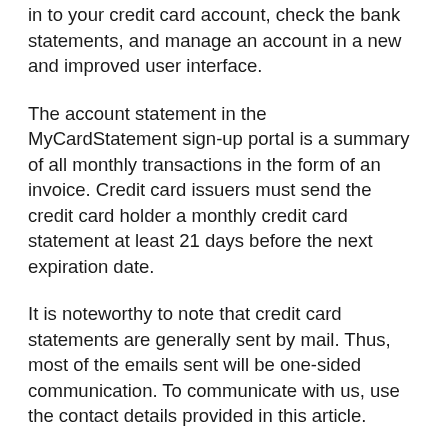in to your credit card account, check the bank statements, and manage an account in a new and improved user interface.
The account statement in the MyCardStatement sign-up portal is a summary of all monthly transactions in the form of an invoice. Credit card issuers must send the credit card holder a monthly credit card statement at least 21 days before the next expiration date.
It is noteworthy to note that credit card statements are generally sent by mail. Thus, most of the emails sent will be one-sided communication. To communicate with us, use the contact details provided in this article.